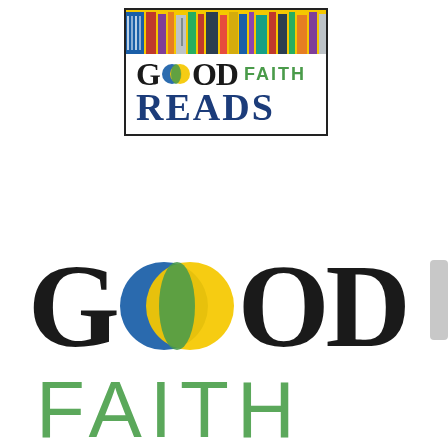[Figure (logo): Good Faith Reads logo — bordered box with colored book spines at top, 'GOOD' in black serif with two overlapping circles (blue and yellow), 'FAITH' in green uppercase sans, 'READS' in large dark-blue serif bold.]
[Figure (logo): Large Good Faith logo — 'GOOD' in large black serif with large overlapping blue and yellow circles forming green intersection, 'FAITH' in large green uppercase sans-serif below.]